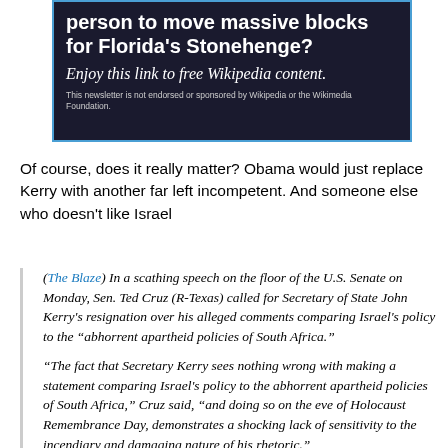[Figure (other): Wikipedia newsletter banner advertisement with dark blue/black background, white bold text reading 'person to move massive blocks for Florida's Stonehenge?', italic white text 'Enjoy this link to free Wikipedia content.', and small disclaimer text 'This newsletter is not endorsed or sponsored by Wikipedia or the Wikimedia Foundation.']
Of course, does it really matter? Obama would just replace Kerry with another far left incompetent. And someone else who doesn't like Israel
(The Blaze) In a scathing speech on the floor of the U.S. Senate on Monday, Sen. Ted Cruz (R-Texas) called for Secretary of State John Kerry's resignation over his alleged comments comparing Israel's policy to the “abhorrent apartheid policies of South Africa.”
“The fact that Secretary Kerry sees nothing wrong with making a statement comparing Israel's policy to the abhorrent apartheid policies of South Africa,” Cruz said, “and doing so on the eve of Holocaust Remembrance Day, demonstrates a shocking lack of sensitivity to the incendiary and damaging nature of his rhetoric.”